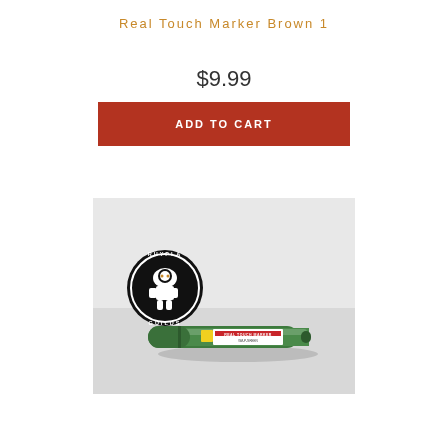Real Touch Marker Brown 1
$9.99
ADD TO CART
[Figure (photo): Product photo of a green Real Touch Marker pen lying on a light gray surface next to a circular Rhypla Guilds logo sticker (black circle with a white robot/mech figure).]